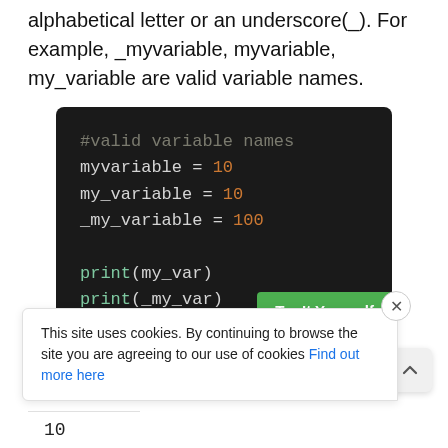alphabetical letter or an underscore(_). For example, _myvariable, myvariable, my_variable are valid variable names.
[Figure (screenshot): Dark-themed code editor showing Python variable name examples: #valid variable names, myvariable = 10, my_variable = 10, _my_variable = 100, print(my_var), print(_my_var). A green 'Try It Yourself' button appears at bottom right.]
This site uses cookies. By continuing to browse the site you are agreeing to our use of cookies Find out more here
10